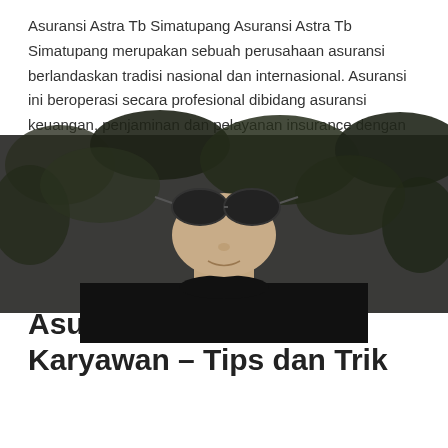[Figure (photo): Young man wearing sunglasses and black t-shirt with dark background foliage]
Asuransi Astra Tb Simatupang Asuransi Astra Tb Simatupang merupakan sebuah perusahaan asuransi berlandaskan tradisi nasional dan internasional. Asuransi ini beroperasi secara profesional dibidang asuransi keuangan, penjaminan dan pelayanan insurance dengan anggaran keaudit tertinggi di Indonesia. Asuransi Astra Tb Simatupang menyediakan jasa pelayanan asuransi yang terkait dengan perilaku produk, produk layanan, …
Read More »
Asuransi Kesehatan Karyawan – Tips dan Trik